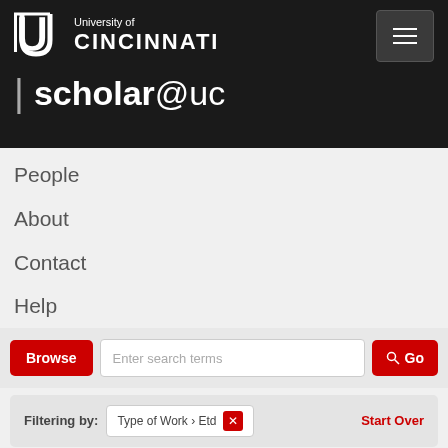University of Cincinnati | scholar@uc
People
About
Contact
Help
Browse  Enter search terms  Go
Filtering by: Type of Work > Etd  Start Over